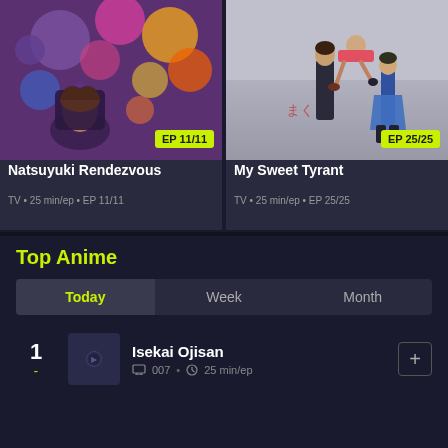[Figure (screenshot): Anime card thumbnail for Natsuyuki Rendezvous with colorful flowers and character, EP 11/11 badge]
[Figure (screenshot): Anime card thumbnail for My Sweet Tyrant with characters, EP 25/25 badge]
Natsuyuki Rendezvous
TV • 25 min/ep • EP 11/11
My Sweet Tyrant
TV • 25 min/ep • EP 25/25
Top Anime
Today
Week
Month
[Figure (screenshot): Ranked list item #1 - Isekai Ojisan with thumbnail, monitor icon 007, clock 25 min/ep, plus button]
Isekai Ojisan
007 • 25 min/ep